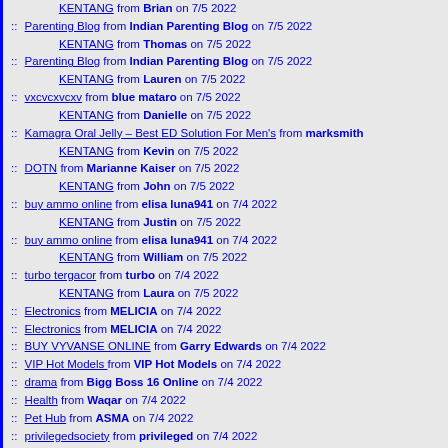KENTANG from Brian on 7/5 2022
Parenting Blog from Indian Parenting Blog on 7/5 2022
KENTANG from Thomas on 7/5 2022
Parenting Blog from Indian Parenting Blog on 7/5 2022
KENTANG from Lauren on 7/5 2022
vxcvcxvcxv from blue mataro on 7/5 2022
KENTANG from Danielle on 7/5 2022
Kamagra Oral Jelly – Best ED Solution For Men's from marksmith
KENTANG from Kevin on 7/5 2022
DOTN from Marianne Kaiser on 7/5 2022
KENTANG from John on 7/5 2022
buy ammo online from elisa luna941 on 7/4 2022
KENTANG from Justin on 7/5 2022
buy ammo online from elisa luna941 on 7/4 2022
KENTANG from William on 7/5 2022
turbo tergacor from turbo on 7/4 2022
KENTANG from Laura on 7/5 2022
Electronics from MELICIA on 7/4 2022
Electronics from MELICIA on 7/4 2022
BUY VYVANSE ONLINE from Garry Edwards on 7/4 2022
VIP Hot Models from VIP Hot Models on 7/4 2022
drama from Bigg Boss 16 Online on 7/4 2022
Health from Waqar on 7/4 2022
Pet Hub from ASMA on 7/4 2022
privilegedsociety from privileged on 7/4 2022
online matka play from Misha Jain on 7/4 2022
How to Add Money to Venmo from Larry jarry on 7/4 2022
panacea global hair services from panacea on 7/4 2022
privilegedsociety from privileged on 7/4 2022
gun store from gun store on 7/4 2022